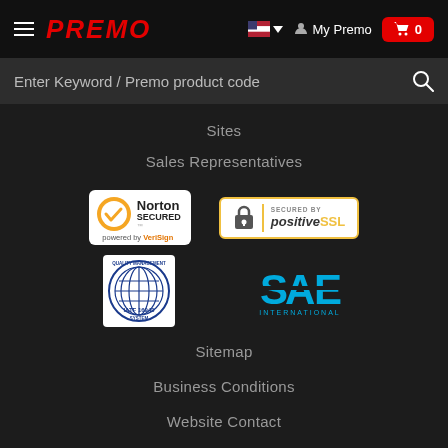PREMO — My Premo — 0
Enter Keyword / Premo product code
Sites
Sales Representatives
[Figure (logo): Norton SECURED powered by VeriSign badge]
[Figure (logo): Secured by positive SSL badge]
[Figure (logo): IATF 16949 Quality Management System badge]
[Figure (logo): SAE International logo]
Sitemap
Business Conditions
Website Contact